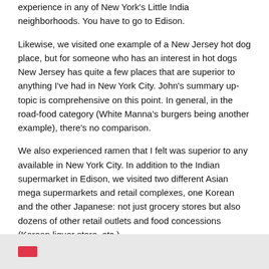experience in any of New York's Little India neighborhoods. You have to go to Edison.
Likewise, we visited one example of a New Jersey hot dog place, but for someone who has an interest in hot dogs New Jersey has quite a few places that are superior to anything I've had in New York City. John's summary up-topic is comprehensive on this point. In general, in the road-food category (White Manna's burgers being another example), there's no comparison.
We also experienced ramen that I felt was superior to any available in New York City. In addition to the Indian supermarket in Edison, we visited two different Asian mega supermarkets and retail complexes, one Korean and the other Japanese: not just grocery stores but also dozens of other retail outlets and food concessions (Korean liquor store, etc.).
Moreover, it would be a simple matter to design additional day-long tours covering other categories such as Portuguese food and culture in Newark, all sorts of ethnic food shopping, etc. Indeed, I would be more than happy to repeat this challenge over and over again in different permutations.